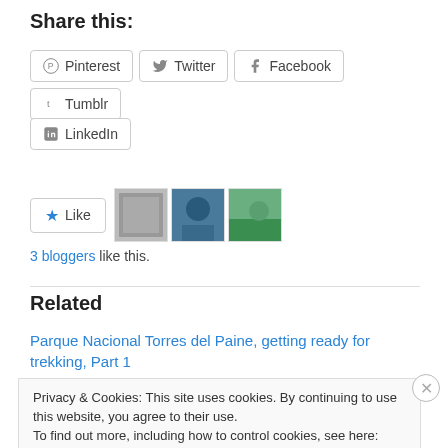Share this:
Pinterest
Twitter
Facebook
Tumblr
LinkedIn
3 bloggers like this.
Related
Parque Nacional Torres del Paine, getting ready for trekking, Part 1
Privacy & Cookies: This site uses cookies. By continuing to use this website, you agree to their use. To find out more, including how to control cookies, see here: Cookie Policy